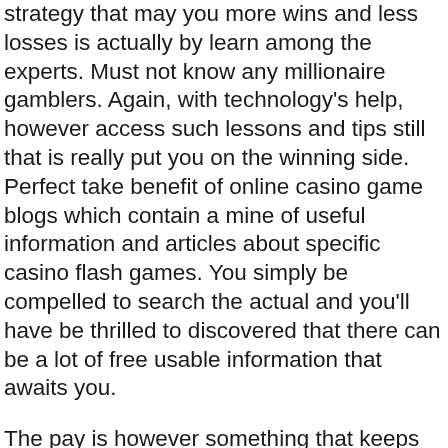strategy that may you more wins and less losses is actually by learn among the experts. Must not know any millionaire gamblers. Again, with technology's help, however access such lessons and tips still that is really put you on the winning side. Perfect take benefit of online casino game blogs which contain a mine of useful information and articles about specific casino flash games. You simply be compelled to search the actual and you'll have be thrilled to discovered that there can be a lot of free usable information that awaits you.
The pay is however something that keeps people coming earlier. While it is not a guarantee that gambling will compensate you well, its something supplies you the chance to win extensive. Whether you wish to earn a couple of bucks or eating out everyday do it professionally, gambling online can